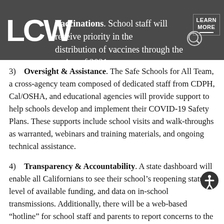Vaccinations. School staff will receive priority in the distribution of vaccines through the spring of 2021.
3) Oversight & Assistance. The Safe Schools for All Team, a cross-agency team composed of dedicated staff from CDPH, Cal/OSHA, and educational agencies will provide support to help schools develop and implement their COVID-19 Safety Plans. These supports include school visits and walk-throughs as warranted, webinars and training materials, and ongoing technical assistance.
4) Transparency & Accountability. A state dashboard will enable all Californians to see their school's reopening status, level of available funding, and data on in-school transmissions. Additionally, there will be a web-based “hotline” for school staff and parents to report concerns to the Safe Schools for All Team. The Team will have the ability to provide